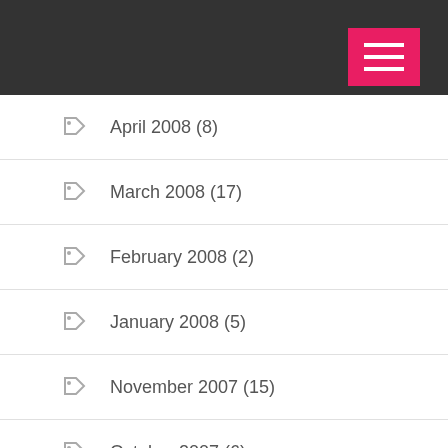April 2008 (8)
March 2008 (17)
February 2008 (2)
January 2008 (5)
November 2007 (15)
October 2007 (6)
August 2007 (27)
July 2007 (2)